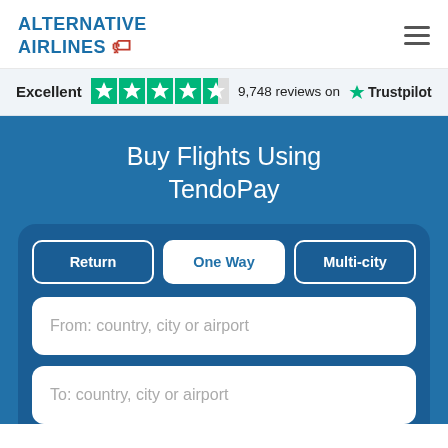ALTERNATIVE AIRLINES
Excellent  9,748 reviews on Trustpilot
Buy Flights Using TendoPay
Return
One Way
Multi-city
From: country, city or airport
To: country, city or airport